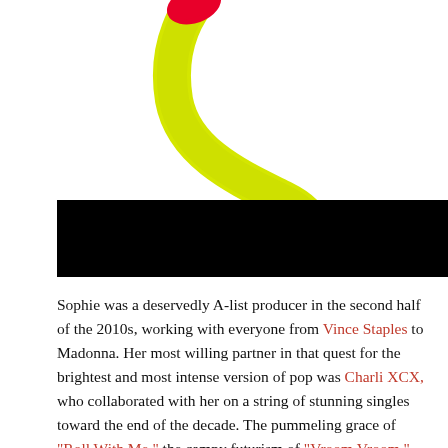[Figure (illustration): 3D rendered yellow curved tube/horn shape with red accent at the top, on white background]
[Figure (photo): Black redacted/blacked-out banner image]
Sophie was a deservedly A-list producer in the second half of the 2010s, working with everyone from Vince Staples to Madonna. Her most willing partner in that quest for the brightest and most intense version of pop was Charli XCX, who collaborated with her on a string of stunning singles toward the end of the decade. The pummeling grace of "Roll With Me," the campy futurism of "Vroom Vroom," the tweaked bliss of "Out of My Head" — these songs take the theoretical promise of the producer's early music and